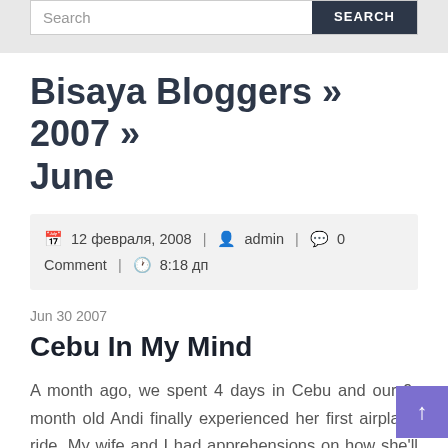Search | SEARCH
Bisaya Bloggers » 2007 » June
12 февраля, 2008 | admin | 0 Comment | 8:18 дп
Jun 30 2007
Cebu In My Mind
A month ago, we spent 4 days in Cebu and our 9-month old Andi finally experienced her first airplane ride. My wife and I had apprehensions on how she'll respond to the sudden rise and fall in altitude because from her elevator rides,